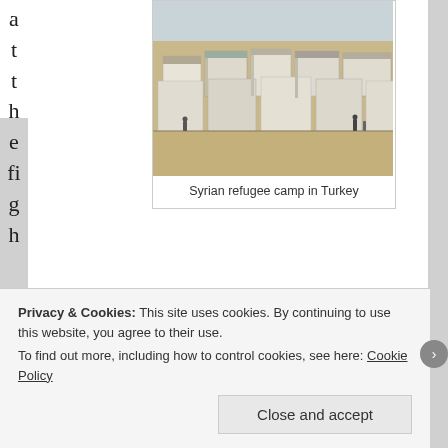a t t h e f i g h t
[Figure (photo): Syrian refugee camp in Turkey — rows of white prefabricated shelters and tents in a desert setting with people visible]
Syrian refugee camp in Turkey
t the White House officials want to get more deeply involved in? Or would it be better to step back, help the refugees, help the rebuilding effort when it begins, and try to win the respect of whoever survives this tragedy?
Privacy & Cookies: This site uses cookies. By continuing to use this website, you agree to their use.
To find out more, including how to control cookies, see here: Cookie Policy
Close and accept